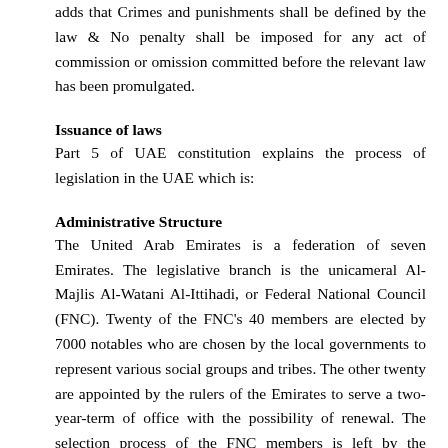adds that Crimes and punishments shall be defined by the law & No penalty shall be imposed for any act of commission or omission committed before the relevant law has been promulgated.
Issuance of laws
Part 5 of UAE constitution explains the process of legislation in the UAE which is:
Administrative Structure
The United Arab Emirates is a federation of seven Emirates. The legislative branch is the unicameral Al-Majlis Al-Watani Al-Ittihadi, or Federal National Council (FNC). Twenty of the FNC's 40 members are elected by 7000 notables who are chosen by the local governments to represent various social groups and tribes. The other twenty are appointed by the rulers of the Emirates to serve a two-year-term of office with the possibility of renewal. The selection process of the FNC members is left by the constitution to the Emirates' discretion. Of the 40 members the share of Abu Dhabi and Dubai is 8 members each. Sharjah and Ra's al Khaymah have 6 members each, and